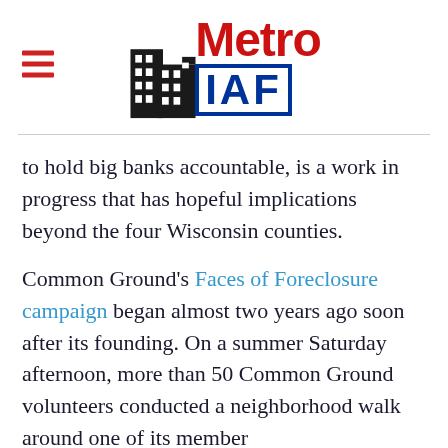[Figure (logo): Metro IAF logo with building silhouette icon, 'Metro' in red bold text and 'IAF' in blue bold text with blue border]
to hold big banks accountable, is a work in progress that has hopeful implications beyond the four Wisconsin counties.
Common Ground's Faces of Foreclosure campaign began almost two years ago soon after its founding. On a summer Saturday afternoon, more than 50 Common Ground volunteers conducted a neighborhood walk around one of its member